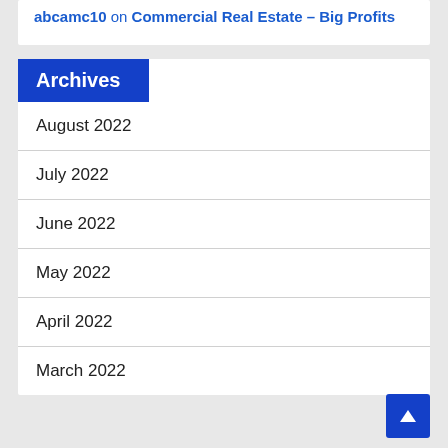abcamc10 on Commercial Real Estate – Big Profits
Archives
August 2022
July 2022
June 2022
May 2022
April 2022
March 2022